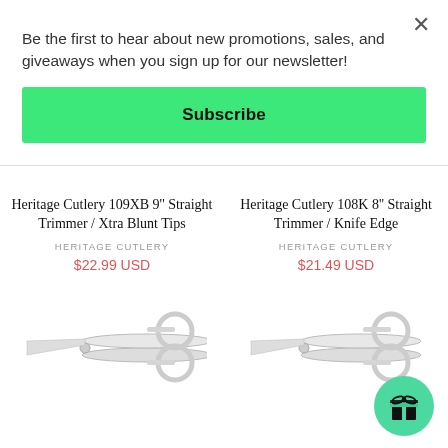Be the first to hear about new promotions, sales, and giveaways when you sign up for our newsletter!
Subscribe
Heritage Cutlery 109XB 9'' Straight Trimmer / Xtra Blunt Tips
HERITAGE CUTLERY
$22.99 USD
Heritage Cutlery 108K 8'' Straight Trimmer / Knife Edge
HERITAGE CUTLERY
$21.49 USD
[Figure (illustration): Scissors image for Heritage Cutlery 109XB]
[Figure (illustration): Scissors image for Heritage Cutlery 108K with gift button overlay]